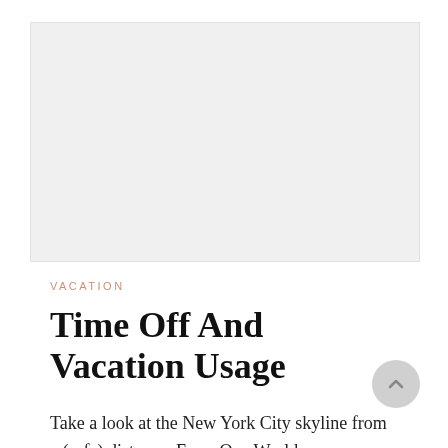[Figure (photo): Placeholder image area with light gray background]
VACATION
Time Off And Vacation Usage
Take a look at the New York City skyline from a (safe) distance. From One World